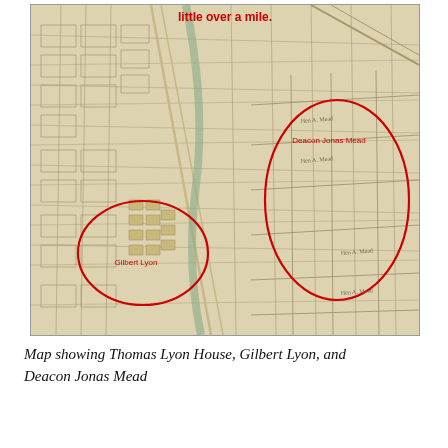[Figure (map): Historical map showing the locations of Thomas Lyon House, Gilbert Lyon, and Deacon Jonas Mead. The map is a vintage sepia-toned street and property map with two red oval circles highlighting the locations of 'Gilbert Lyon' (lower center) and 'Deacon Jonas Mead' (right). Red bold text at the top reads 'little over a mile.']
Map showing Thomas Lyon House, Gilbert Lyon, and Deacon Jonas Mead